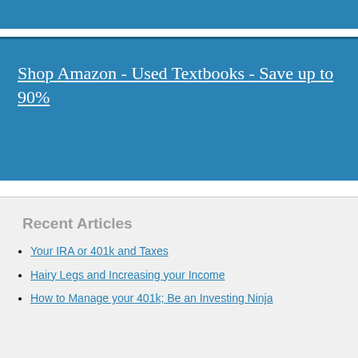[Figure (other): Blue header banner bar at top of page]
Shop Amazon - Used Textbooks - Save up to 90%
Recent Articles
Your IRA or 401k and Taxes
Hairy Legs and Increasing your Income
How to Manage your 401k; Be an Investing Ninja